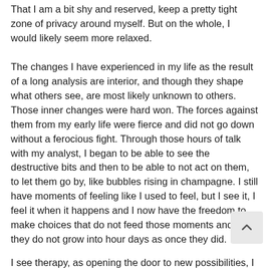That I am a bit shy and reserved, keep a pretty tight zone of privacy around myself. But on the whole, I would likely seem more relaxed.
The changes I have experienced in my life as the result of a long analysis are interior, and though they shape what others see, are most likely unknown to others. Those inner changes were hard won. The forces against them from my early life were fierce and did not go down without a ferocious fight. Through those hours of talk with my analyst, I began to be able to see the destructive bits and then to be able to not act on them, to let them go by, like bubbles rising in champagne. I still have moments of feeling like I used to feel, but I see it, I feel it when it happens and I now have the freedom to make choices that do not feed those moments and so they do not grow into hours or days as once they did.
I see therapy, as opening the door to new possibilities, I...